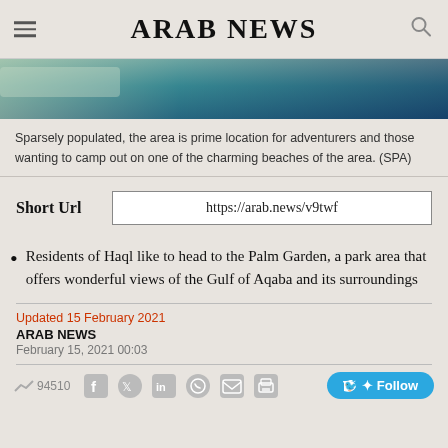ARAB NEWS
[Figure (photo): Aerial or coastal photo showing turquoise water and shoreline, used as article hero image strip]
Sparsely populated, the area is prime location for adventurers and those wanting to camp out on one of the charming beaches of the area. (SPA)
Short Url  https://arab.news/v9twf
Residents of Haql like to head to the Palm Garden, a park area that offers wonderful views of the Gulf of Aqaba and its surroundings
Updated 15 February 2021
ARAB NEWS
February 15, 2021 00:03
94510  Follow